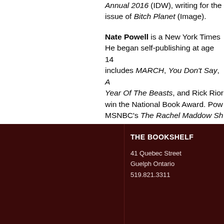Annual 2016 (IDW), writing for the issue of Bitch Planet (Image).
Nate Powell is a New York Times He began self-publishing at age 14 includes MARCH, You Don't Say, Year Of The Beasts, and Rick Rion win the National Book Award. Pow MSNBC's The Rachel Maddow Sh
THE BOOKSHELF
41 Quebec Street
Guelph Ontario
519.821.3311
BOOK
Books
Gifts
Read R
Follow